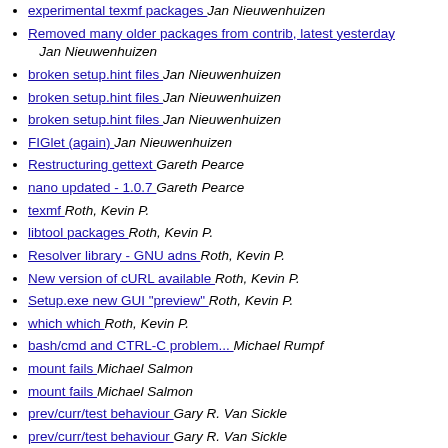experimental texmf packages  Jan Nieuwenhuizen
Removed many older packages from contrib, latest yesterday  Jan Nieuwenhuizen
broken setup.hint files  Jan Nieuwenhuizen
broken setup.hint files  Jan Nieuwenhuizen
broken setup.hint files  Jan Nieuwenhuizen
FIGlet (again)  Jan Nieuwenhuizen
Restructuring gettext  Gareth Pearce
nano updated - 1.0.7  Gareth Pearce
texmf  Roth, Kevin P.
libtool packages  Roth, Kevin P.
Resolver library - GNU adns  Roth, Kevin P.
New version of cURL available  Roth, Kevin P.
Setup.exe new GUI "preview"  Roth, Kevin P.
which which  Roth, Kevin P.
bash/cmd and CTRL-C problem...  Michael Rumpf
mount fails  Michael Salmon
mount fails  Michael Salmon
prev/curr/test behaviour  Gary R. Van Sickle
prev/curr/test behaviour  Gary R. Van Sickle
multiple mirror code && setup HEAD  Gary R. Van Sickle
multiple mirror code && setup HEAD  Gary R. Van Sickle
multiple mirror code && setup HEAD  Gary R. Van Sickle
multiple mirror code && setup HEAD  Gary R. Van Sickle
broken setup.hint files  Gary R. Van Sickle